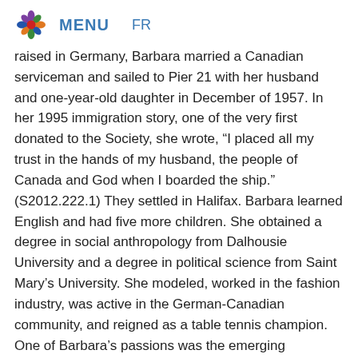MENU   FR
raised in Germany, Barbara married a Canadian serviceman and sailed to Pier 21 with her husband and one-year-old daughter in December of 1957. In her 1995 immigration story, one of the very first donated to the Society, she wrote, “I placed all my trust in the hands of my husband, the people of Canada and God when I boarded the ship.” (S2012.222.1) They settled in Halifax. Barbara learned English and had five more children. She obtained a degree in social anthropology from Dalhousie University and a degree in political science from Saint Mary’s University. She modeled, worked in the fashion industry, was active in the German-Canadian community, and reigned as a table tennis champion. One of Barbara’s passions was the emerging multicultural movement. Around the time that J.P. and Trudy Duivenvoorden Mitic were starting work on their Pier 21 book, Barbara was